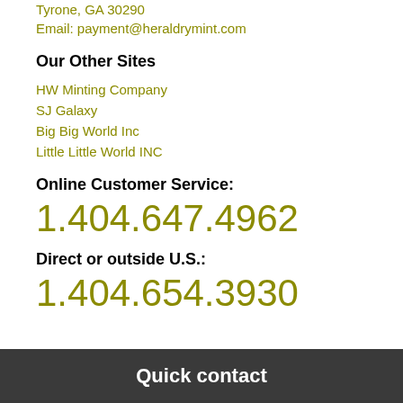Tyrone, GA 30290
Email: payment@heraldrymint.com
Our Other Sites
HW Minting Company
SJ Galaxy
Big Big World Inc
Little Little World INC
Online Customer Service:
1.404.647.4962
Direct or outside U.S.:
1.404.654.3930
Quick contact